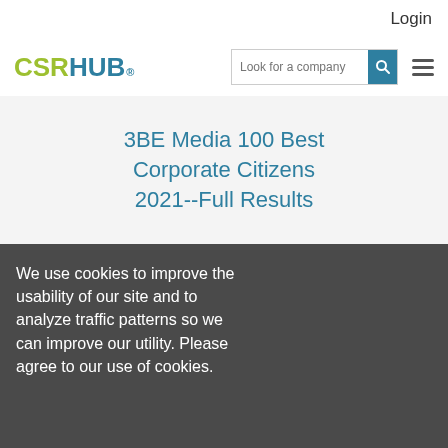Login
[Figure (logo): CSRHUB logo with green CSR and teal HUB text and registered trademark symbol]
3BE Media 100 Best Corporate Citizens 2021--Full Results
We use cookies to improve the usability of our site and to analyze traffic patterns so we can improve our utility. Please agree to our use of cookies.